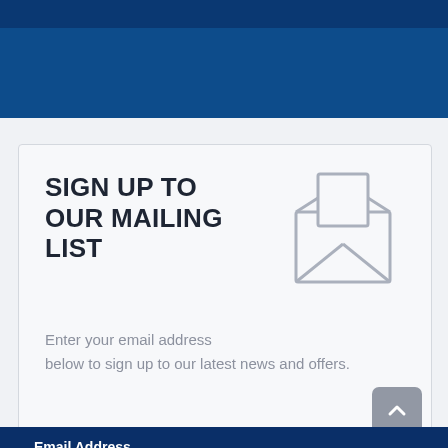[Figure (other): Dark navy blue top bar / header band at top of page]
SIGN UP TO OUR MAILING LIST
[Figure (illustration): Open envelope / mailing icon in grey outline style]
Enter your email address below to sign up to our latest news and offers.
Email Address
example@EXAMPLE.com